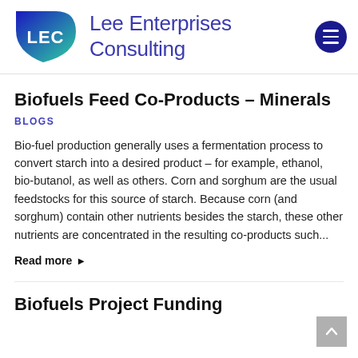[Figure (logo): Lee Enterprises Consulting logo: LEC initials on blue-to-teal gradient leaf shape, with company name 'Lee Enterprises Consulting' in blue/purple text and a dark blue hamburger menu circle icon]
Biofuels Feed Co-Products – Minerals
BLOGS
Bio-fuel production generally uses a fermentation process to convert starch into a desired product – for example, ethanol, bio-butanol, as well as others. Corn and sorghum are the usual feedstocks for this source of starch. Because corn (and sorghum) contain other nutrients besides the starch, these other nutrients are concentrated in the resulting co-products such...
Read more ▸
Biofuels Project Funding